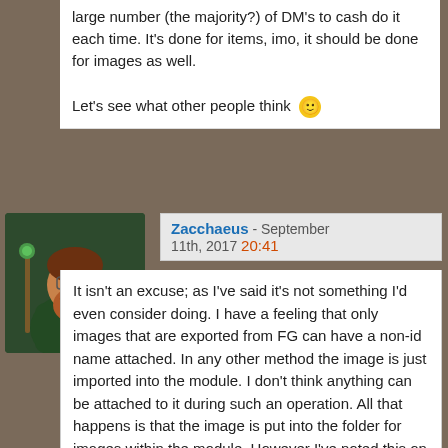large number (the majority?) of DM's to cash do it each time. It's done for items, imo, it should be done for images as well.

Let's see what other people think 🙂
Zacchaeus - September 11th, 2017 20:41
It isn't an excuse; as I've said it's not something I'd even consider doing. I have a feeling that only images that are exported from FG can have a non-id name attached. In any other method the image is just imported into the module. I don't think anything can be attached to it during such an operation. All that happens is that the image is put into the folder for images within the module. However I've noted this on the list of things for Zeus to look at when he next updates par5e.
LordEntrails - September 11th, 2017 23:09
Originally Posted by Zacchaeus
It isn't an excuse; as I've said it's not something I'd even consider doing. I have a